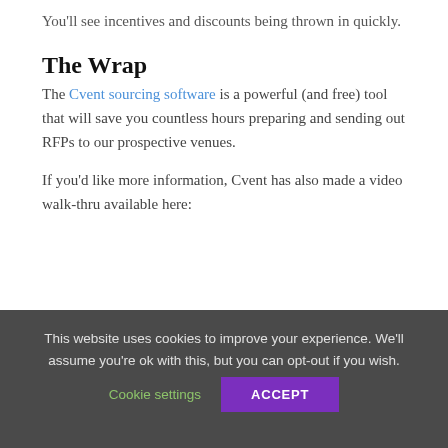You'll see incentives and discounts being thrown in quickly.
The Wrap
The Cvent sourcing software is a powerful (and free) tool that will save you countless hours preparing and sending out RFPs to our prospective venues.
If you'd like more information, Cvent has also made a video walk-thru available here:
This website uses cookies to improve your experience. We'll assume you're ok with this, but you can opt-out if you wish.
Cookie settings
ACCEPT